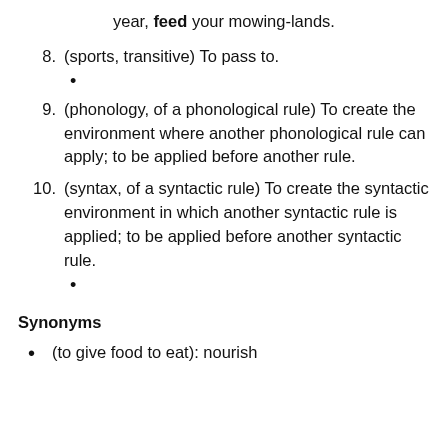year, feed your mowing-lands.
8. (sports, transitive) To pass to.
•
9. (phonology, of a phonological rule) To create the environment where another phonological rule can apply; to be applied before another rule.
10. (syntax, of a syntactic rule) To create the syntactic environment in which another syntactic rule is applied; to be applied before another syntactic rule.
•
Synonyms
(to give food to eat): nourish